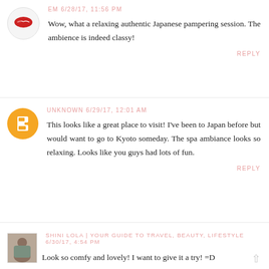[Figure (illustration): Avatar with red lips/kiss icon for user EM]
EM 6/28/17, 11:56 PM
Wow, what a relaxing authentic Japanese pampering session. The ambience is indeed classy!
REPLY
[Figure (illustration): Orange circle Blogger avatar icon for Unknown user]
UNKNOWN 6/29/17, 12:01 AM
This looks like a great place to visit! I've been to Japan before but would want to go to Kyoto someday. The spa ambiance looks so relaxing. Looks like you guys had lots of fun.
REPLY
[Figure (photo): Profile photo of Shini Lola]
SHINI LOLA | YOUR GUIDE TO TRAVEL, BEAUTY, LIFESTYLE 6/30/17, 4:54 PM
Look so comfy and lovely! I want to give it a try! =D